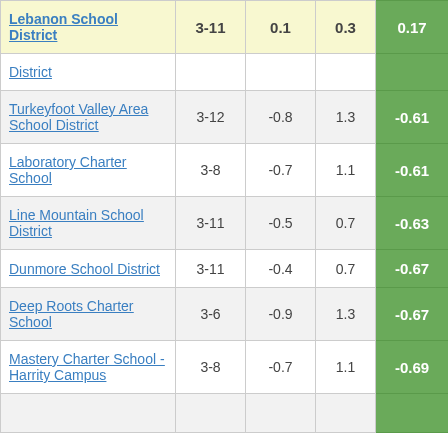| School/District | Grades | Col3 | Col4 | Score |
| --- | --- | --- | --- | --- |
| Lebanon School District | 3-11 | 0.1 | 0.3 | 0.17 |
| District |  |  |  |  |
| Turkeyfoot Valley Area School District | 3-12 | -0.8 | 1.3 | -0.61 |
| Laboratory Charter School | 3-8 | -0.7 | 1.1 | -0.61 |
| Line Mountain School District | 3-11 | -0.5 | 0.7 | -0.63 |
| Dunmore School District | 3-11 | -0.4 | 0.7 | -0.67 |
| Deep Roots Charter School | 3-6 | -0.9 | 1.3 | -0.67 |
| Mastery Charter School - Harrity Campus | 3-8 | -0.7 | 1.1 | -0.69 |
| (partial row) |  |  |  |  |